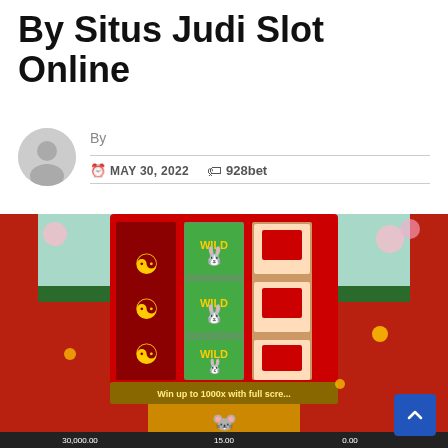By Situs Judi Slot Online
By
MAY 30, 2022  928bet
[Figure (screenshot): Screenshot of a Chinese-themed slot machine game showing reels with rabbit/bunny WILD symbols, red envelope symbols, and coin symbols. The game interface shows 'Win up to 1000x with full screen' banner. Bottom shows balance: 30,000.00, 15.00, 0.00]